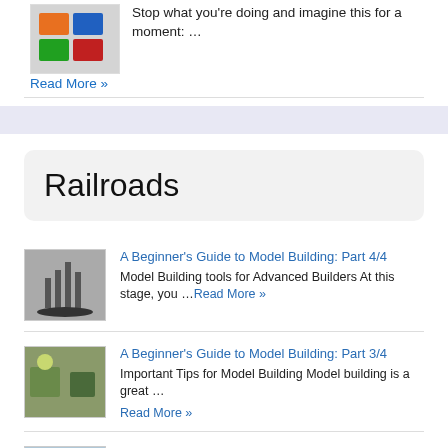Stop what you're doing and imagine this for a moment: …
Read More »
Railroads
A Beginner's Guide to Model Building: Part 4/4
Model Building tools for Advanced Builders At this stage, you …Read More »
A Beginner's Guide to Model Building: Part 3/4
Important Tips for Model Building Model building is a great … Read More »
A Beginner's Guide to Model Building: Part 2/4
While hobby model building has been around for a very … Read More »
A Beginner's Guide to Model Building: Part 1/4